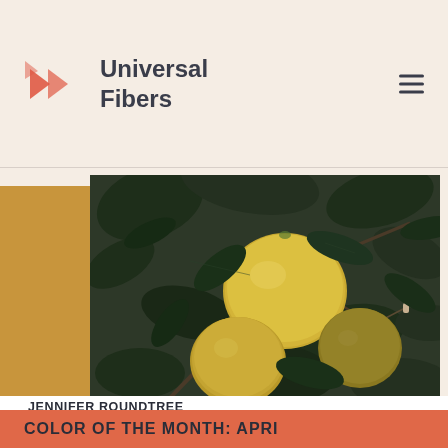Universal Fibers
[Figure (photo): Close-up photo of yellow lemons hanging on a branch with dark green leaves]
JENNIFER ROUNDTREE
| 14-OKT-2021 8:52:36 | 2 MIN READ
COLOR OF THE MONTH: APRIL